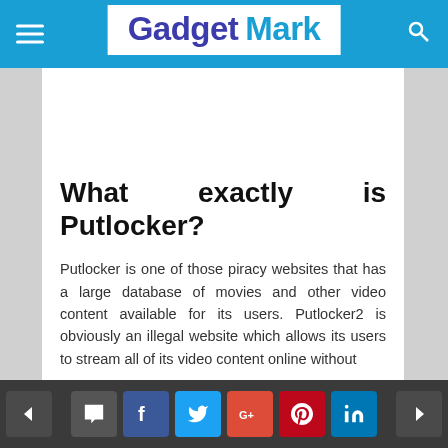Gadget Mark
What exactly is Putlocker?
Putlocker is one of those piracy websites that has a large database of movies and other video content available for its users. Putlocker2 is obviously an illegal website which allows its users to stream all of its video content online without
Navigation bar with social share buttons: comment, facebook, twitter, google+, pinterest, linkedin